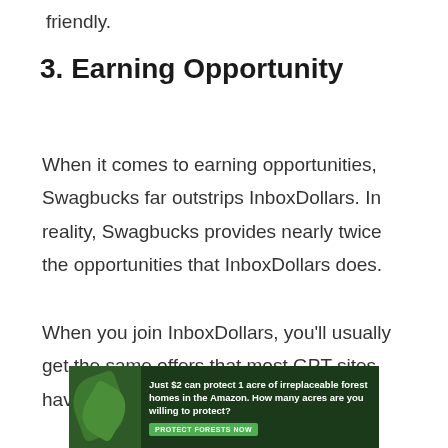friendly.
3. Earning Opportunity
When it comes to earning opportunities, Swagbucks far outstrips InboxDollars. In reality, Swagbucks provides nearly twice the opportunities that InboxDollars does.
When you join InboxDollars, you'll usually get the same offers that most GPT sites have.
[Figure (other): Advertisement banner: forest/Amazon conservation ad with green background and leaves image on left side. Text reads: 'Just $2 can protect 1 acre of irreplaceable forest homes in the Amazon. How many acres are you willing to protect?' with a green button 'PROTECT FORESTS NOW']